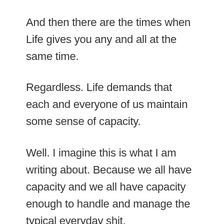And then there are the times when Life gives you any and all at the same time.
Regardless. Life demands that each and everyone of us maintain some sense of capacity.
Well. I imagine this is what I am writing about. Because we all have capacity and we all have capacity enough to handle and manage the typical everyday shit.
However.